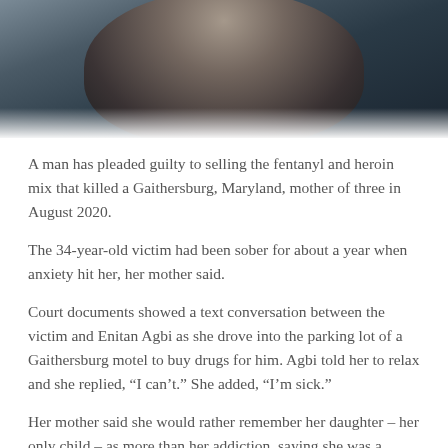[Figure (photo): Partial photograph of a woman with dark hair, cropped to show head/shoulders area, dark background.]
A man has pleaded guilty to selling the fentanyl and heroin mix that killed a Gaithersburg, Maryland, mother of three in August 2020.
The 34-year-old victim had been sober for about a year when anxiety hit her, her mother said.
Court documents showed a text conversation between the victim and Enitan Agbi as she drove into the parking lot of a Gaithersburg motel to buy drugs for him. Agbi told her to relax and she replied, “I can’t.” She added, “I’m sick.”
Her mother said she would rather remember her daughter – her only child – as more than her addiction, saying she was a cheerful person who loved playing with her children